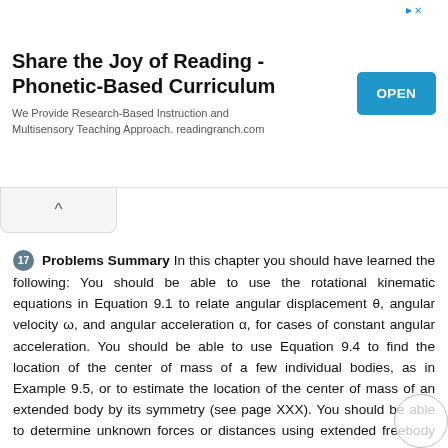[Figure (screenshot): Advertisement banner: 'Share the Joy of Reading - Phonetic-Based Curriculum' with OPEN button]
17  Problems Summary In this chapter you should have learned the following: You should be able to use the rotational kinematic equations in Equation 9.1 to relate angular displacement θ, angular velocity ω, and angular acceleration α, for cases of constant angular acceleration. You should be able to use Equation 9.4 to find the location of the center of mass of a few individual bodies, as in Example 9.5, or to estimate the location of the center of mass of an extended body by its symmetry (see page XXX). You should be able to determine unknown forces or distances using extended freebody diagrams for a body in equilibrium, as discussed in Section 9.5. You should be able to use the formulas in Figure 9.12 to calculate the